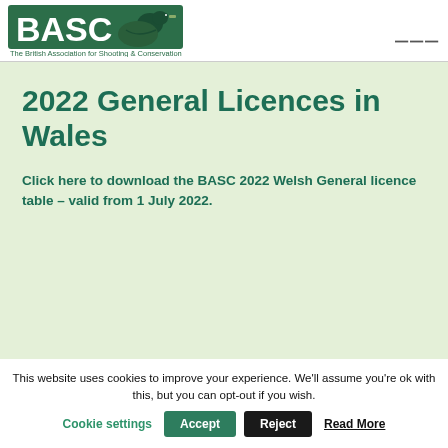BASC – The British Association for Shooting & Conservation
2022 General Licences in Wales
Click here to download the BASC 2022 Welsh General licence table – valid from 1 July 2022.
This website uses cookies to improve your experience. We'll assume you're ok with this, but you can opt-out if you wish.
Cookie settings  Accept  Reject  Read More